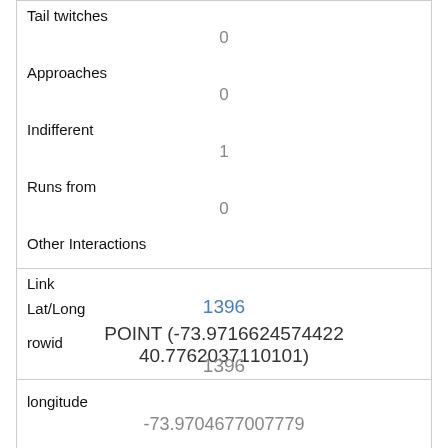| Tail twitches | 0 |
| Approaches | 0 |
| Indifferent | 1 |
| Runs from | 0 |
| Other Interactions |  |
| Lat/Long | POINT (-73.9716624574422 40.7762037110101) |
| Link | 1396 |
| rowid | 1396 |
| longitude | -73.9704677007779 |
| latitude | 40.7786860108302 |